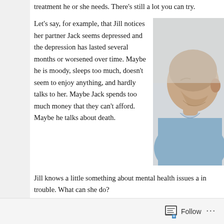But other than that, all you can really do is assure him or her that you support their getting the treatment he or she needs. There's still a lot you can try.
Let's say, for example, that Jill notices her partner Jack seems depressed and the depression has lasted several months or worsened over time. Maybe he is moody, sleeps too much, doesn't seem to enjoy anything, and hardly talks to her. Maybe Jack spends too much money that they can't afford. Maybe he talks about death.
[Figure (photo): A man with a shaved head, wearing a blue shirt, with his head bowed down, appearing depressed.]
Jill knows a little something about mental health issues and can see that Jack is in trouble. What can she do?
A listen. If Jack seems to want to talk, Jill listens to what he...
Follow ...